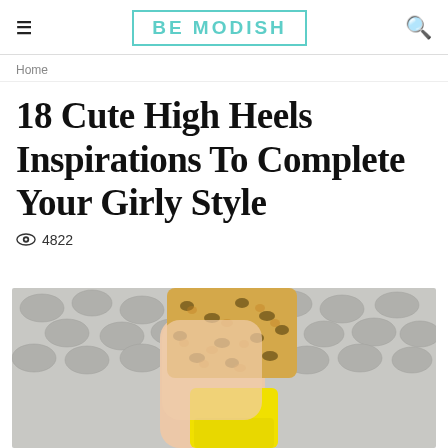BE MODISH
Home
18 Cute High Heels Inspirations To Complete Your Girly Style
4822
[Figure (photo): Close-up photo of a woman's legs wearing yellow high heels, holding a leopard-print clutch, standing on cobblestone pavement.]